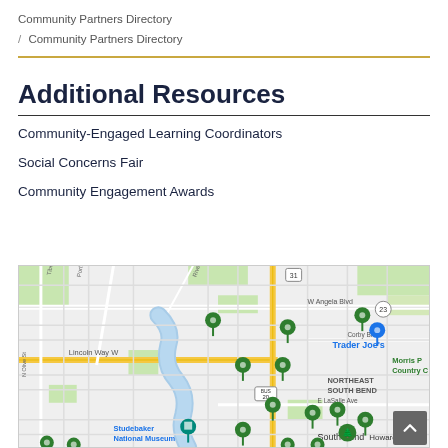Community Partners Directory / Community Partners Directory
Additional Resources
Community-Engaged Learning Coordinators
Social Concerns Fair
Community Engagement Awards
[Figure (map): Google map of South Bend, Indiana area showing locations of community partners as green map pin markers. Visible landmarks include Trader Joe's label in blue, Northeast South Bend label, Howard Park, Studebaker National Museum, Morris P Country C (truncated), street names including Lincoln Way W, E Angela Blvd, W Angela Blvd, Corby Blvd, E LaSalle Ave, N Olive St, Portage Ave, Riverside. Route markers 31, 23, BUS 20 visible. Multiple green drop-pin markers scattered across the map.]